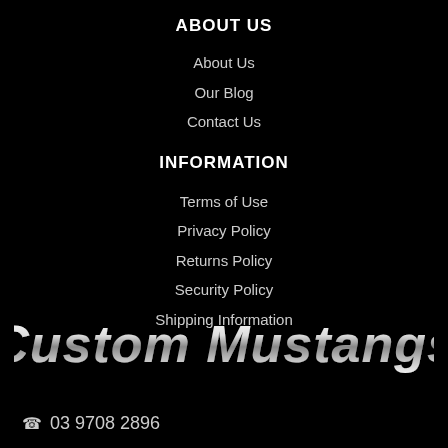ABOUT US
About Us
Our Blog
Contact Us
INFORMATION
Terms of Use
Privacy Policy
Returns Policy
Security Policy
Shipping Information
[Figure (logo): Custom Mustangs logo in chrome/metallic italic script font]
03 9708 2896